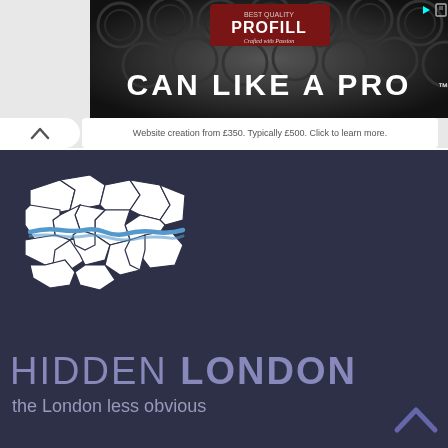[Figure (photo): Advertisement banner for PROFILL brand showing barrel tops in background with text CAN LIKE A PRO]
Website creation from £350. Typically £500. Click to learn more.
[Figure (map): Stylized white map of London boroughs with blue River Thames running through the center, on dark navy background]
HIDDEN LONDON
the London less obvious